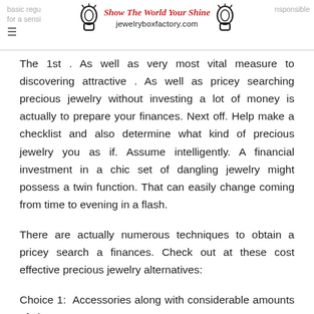basic regu ... responsible for a sensi ... Show The World Your Shine jewelryboxfactory.com
The 1st . As well as very most vital measure to discovering attractive . As well as pricey searching precious jewelry without investing a lot of money is actually to prepare your finances. Next off. Help make a checklist and also determine what kind of precious jewelry you as if. Assume intelligently. A financial investment in a chic set of dangling jewelry might possess a twin function. That can easily change coming from time to evening in a flash.
There are actually numerous techniques to obtain a pricey search a finances. Check out at these cost effective precious jewelry alternatives:
Choice 1: Accessories along with considerable amounts of glamour